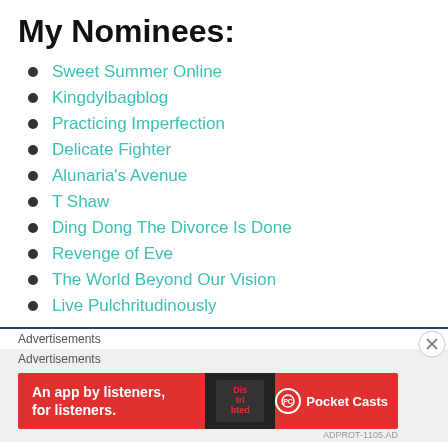My Nominees:
Sweet Summer Online
Kingdylbagblog
Practicing Imperfection
Delicate Fighter
Alunaria's Avenue
T Shaw
Ding Dong The Divorce Is Done
Revenge of Eve
The World Beyond Our Vision
Live Pulchritudinously
Advertisements
Advertisements
[Figure (infographic): Red Pocket Casts advertisement banner reading 'An app by listeners, for listeners.' with phone image and Pocket Casts logo]
ADPROT-1105.AD